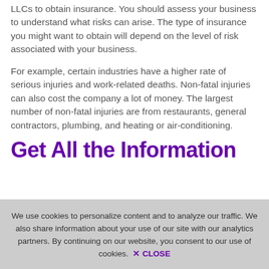LLCs to obtain insurance. You should assess your business to understand what risks can arise. The type of insurance you might want to obtain will depend on the level of risk associated with your business.
For example, certain industries have a higher rate of serious injuries and work-related deaths. Non-fatal injuries can also cost the company a lot of money. The largest number of non-fatal injuries are from restaurants, general contractors, plumbing, and heating or air-conditioning.
Get All the Information
We use cookies to personalize content and to analyze our traffic. We also share information about your use of our site with our analytics partners. By continuing on our website, you consent to our use of cookies.  ✕ CLOSE